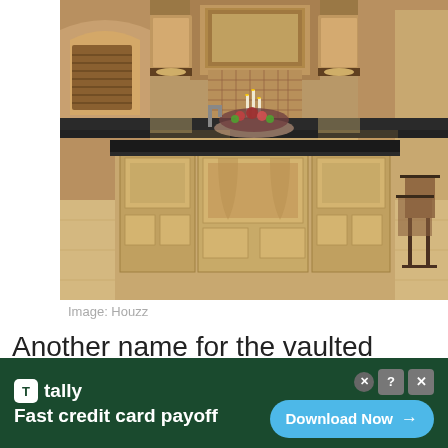[Figure (photo): Luxury kitchen interior with ornate wooden cabinetry, large island with dark granite countertop, warm under-cabinet lighting, decorative backsplash, candles, floral arrangement, and bar stools. Image credit: Houzz.]
Image: Houzz
Another name for the vaulted ceiling is also known as a cathedral ceiling.  This, as the name implies, was a key feature
[Figure (screenshot): Advertisement banner for Tally app: 'Fast credit card payoff' with a Download Now button on dark green background.]